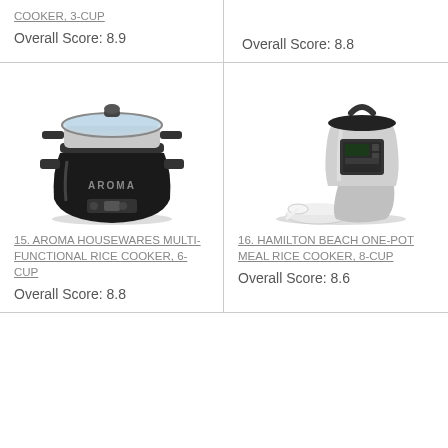COOKER, 3-CUP
Overall Score: 8.9
Overall Score: 8.8
[Figure (photo): Aroma Housewares multi-functional rice cooker, black with glass lid and steamer tray]
[Figure (photo): Hamilton Beach One-Pot Meal Rice Cooker, stainless steel with digital controls, white bowls and spoon accessory]
15. AROMA HOUSEWARES MULTI-FUNCTIONAL RICE COOKER, 6-CUP
Overall Score: 8.8
16. HAMILTON BEACH ONE-POT MEAL RICE COOKER, 8-CUP
Overall Score: 8.6